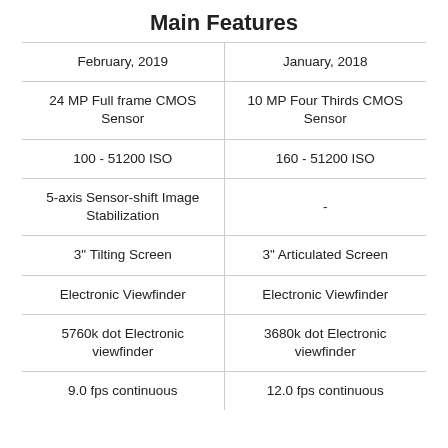Main Features
| February, 2019 | January, 2018 |
| 24 MP Full frame CMOS Sensor | 10 MP Four Thirds CMOS Sensor |
| 100 - 51200 ISO | 160 - 51200 ISO |
| 5-axis Sensor-shift Image Stabilization | - |
| 3" Tilting Screen | 3" Articulated Screen |
| Electronic Viewfinder | Electronic Viewfinder |
| 5760k dot Electronic viewfinder | 3680k dot Electronic viewfinder |
| 9.0 fps continuous | 12.0 fps continuous |